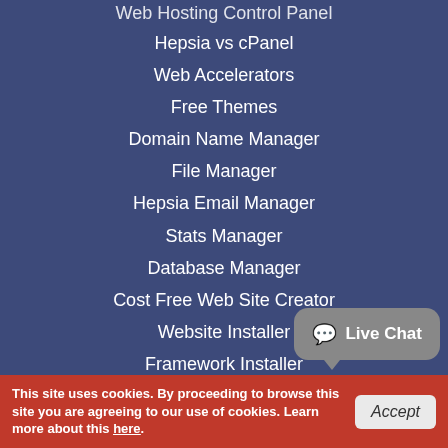Web Hosting Control Panel
Hepsia vs cPanel
Web Accelerators
Free Themes
Domain Name Manager
File Manager
Hepsia Email Manager
Stats Manager
Database Manager
Cost Free Web Site Creator
Website Installer
Framework Installer
Marketing Tools
Advanced Tools
Support
Support
Hosting Support
This site uses cookies. By proceeding to browse this site you are agreeing to our use of cookies. Learn more about this here.